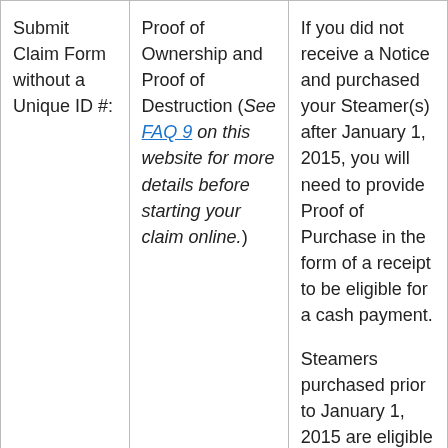| Submit Claim Form without a Unique ID #: | Proof of Ownership and Proof of Destruction (See FAQ 9 on this website for more details before starting your claim online.) | If you did not receive a Notice and purchased your Steamer(s) after January 1, 2015, you will need to provide Proof of Purchase in the form of a receipt to be eligible for a cash payment.

Steamers purchased prior to January 1, 2015 are eligible to receive a HSN voucher and do not require... |